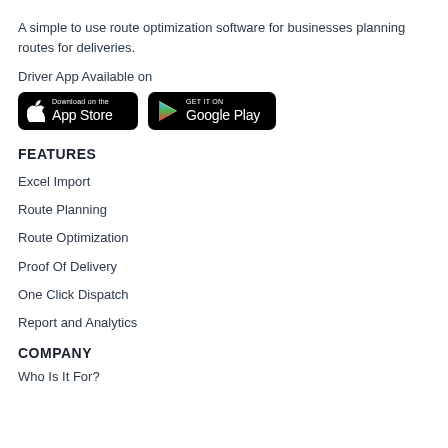A simple to use route optimization software for businesses planning routes for deliveries.
Driver App Available on
[Figure (other): App Store and Google Play download badges side by side on black rounded rectangle backgrounds]
FEATURES
Excel Import
Route Planning
Route Optimization
Proof Of Delivery
One Click Dispatch
Report and Analytics
COMPANY
Who Is It For?